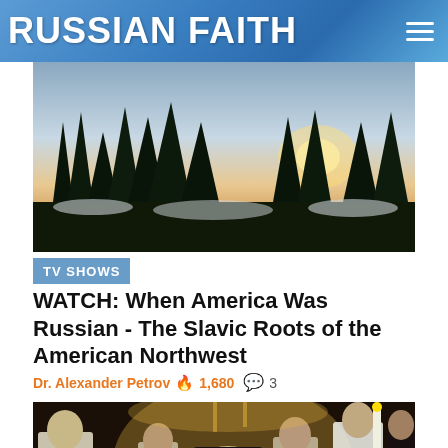RUSSIAN FAITH
[Figure (photo): Winter outdoor scene with snow-covered trees and warm sunset/sunrise light in the background]
TV SHOWS
WATCH: When America Was Russian - The Slavic Roots of the American Northwest
Dr. Alexander Petrov 🔥 1,680 💬 3
[Figure (photo): Orthodox religious ceremony with clergy in ornate gold vestments in a church setting]